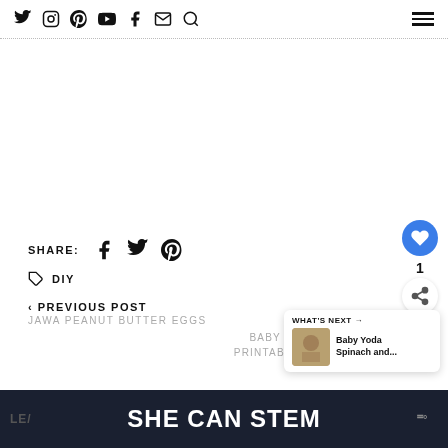Social nav icons and hamburger menu
SHARE: [Facebook] [Twitter] [Pinterest]
DIY
< PREVIOUS POST
JAWA PEANUT BUTTER EGGS
BABY YODA CUPCAKES WITH PRINTABLE CUPCAKE TOPPERS
WHAT'S NEXT → Baby Yoda Spinach and...
SHE CAN STEM